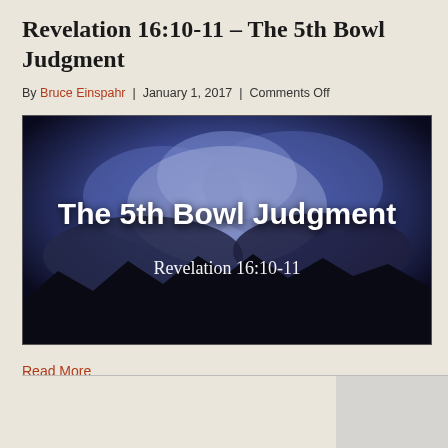Revelation 16:10-11 – The 5th Bowl Judgment
By Bruce Einspahr | January 1, 2017 | Comments Off
[Figure (photo): Dark dramatic storm cloud image with white bold text reading 'The 5th Bowl Judgment' and subtitle 'Revelation 16:10-11' on a dark blue/purple stormy sky background with silhouetted mountains at the bottom.]
Read More